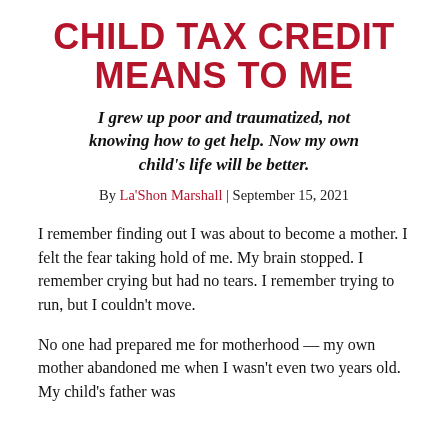CHILD TAX CREDIT MEANS TO ME
I grew up poor and traumatized, not knowing how to get help. Now my own child's life will be better.
By La'Shon Marshall | September 15, 2021
I remember finding out I was about to become a mother. I felt the fear taking hold of me. My brain stopped. I remember crying but had no tears. I remember trying to run, but I couldn't move.
No one had prepared me for motherhood — my own mother abandoned me when I wasn't even two years old. My child's father was